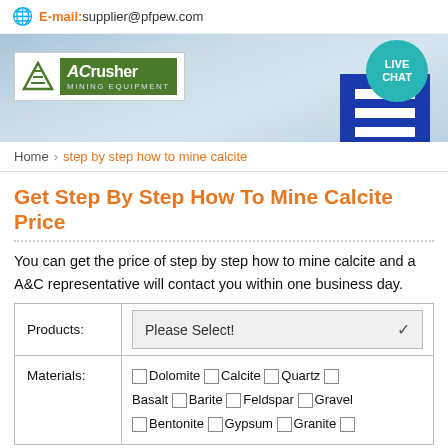E-mail:supplier@pfpew.com
[Figure (logo): ACrusher Mining Equipment logo banner with sky background and Live Chat button]
Home > step by step how to mine calcite
Get Step By Step How To Mine Calcite Price
You can get the price of step by step how to mine calcite and a A&C representative will contact you within one business day.
| Products: | Please Select! |
| --- | --- |
| Materials: | ☐ Dolomite ☐ Calcite ☐ Quartz ☐ Basalt ☐ Barite ☐ Feldspar ☐ Gravel ☐ Bentonite ☐ Gypsum ☐ Granite ☐ |